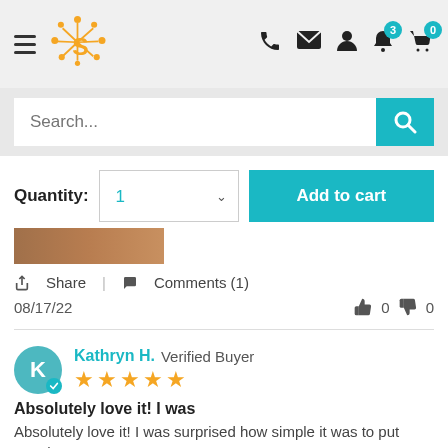[Figure (screenshot): Website header with hamburger menu, sun/S logo, phone icon, message icon, user icon, bell icon with badge 3, and cart icon with badge 0]
[Figure (screenshot): Search bar with placeholder text 'Search...' and teal search button]
Quantity: 1
Add to cart
[Figure (photo): Partial product image]
Share | Comments (1)
08/17/22
0 0
Kathryn H. Verified Buyer
Absolutely love it! I was
Absolutely love it! I was surprised how simple it was to put together